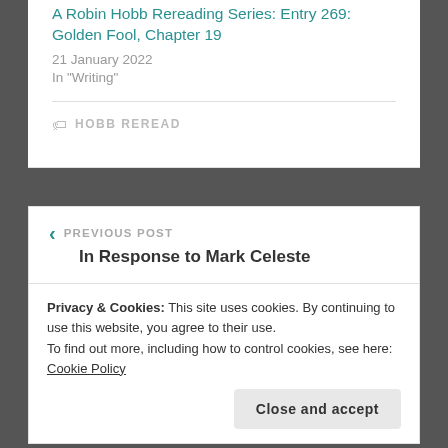A Robin Hobb Rereading Series: Entry 269: Golden Fool, Chapter 19
21 January 2022
In "Writing"
HOBB REREAD
PREVIOUS POST
In Response to Mark Celeste
Privacy & Cookies: This site uses cookies. By continuing to use this website, you agree to their use.
To find out more, including how to control cookies, see here: Cookie Policy
Close and accept